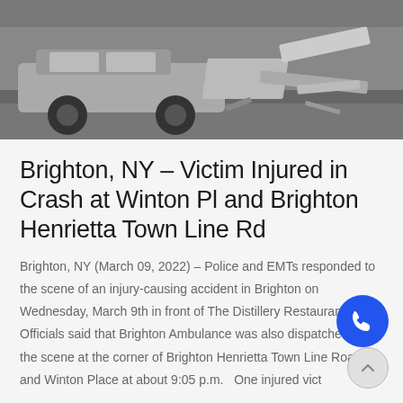[Figure (photo): Black and white photo of a vehicle crash scene showing damaged cars, with bent metal and debris visible at the rear of a vehicle.]
Brighton, NY – Victim Injured in Crash at Winton Pl and Brighton Henrietta Town Line Rd
Brighton, NY (March 09, 2022) – Police and EMTs responded to the scene of an injury-causing accident in Brighton on Wednesday, March 9th in front of The Distillery Restaurant. Officials said that Brighton Ambulance was also dispatched to the scene at the corner of Brighton Henrietta Town Line Road and Winton Place at about 9:05 p.m.   One injured vict... ...
Read More